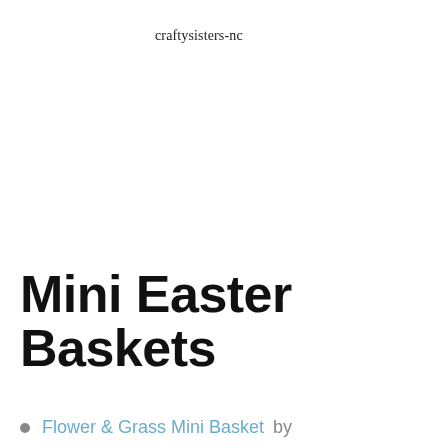craftysisters-nc
Mini Easter Baskets
Flower & Grass Mini Basket by